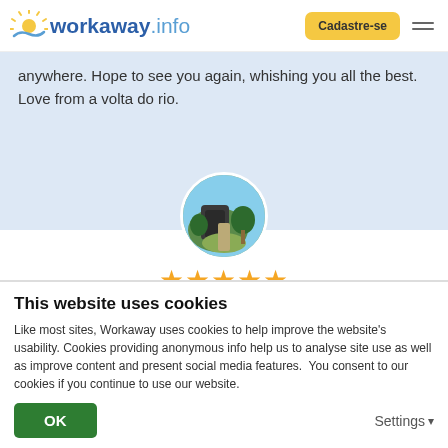workaway.info | Cadastre-se
anywhere. Hope to see you again, whishing you all the best. Love from a volta do rio.
[Figure (photo): Circular profile photo showing a scenic outdoor path with trees and buildings]
[Figure (other): Five gold stars rating]
(Excelente )
02/04/2016
Deixado pelo Workawayer (Agustina & Damian) para o anfitrião
We spent two weeks in the paradise!!
This website uses cookies
Like most sites, Workaway uses cookies to help improve the website's usability. Cookies providing anonymous info help us to analyse site use as well as improve content and present social media features.  You consent to our cookies if you continue to use our website.
OK
Settings